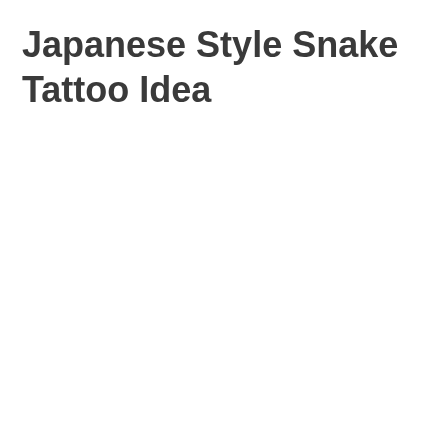Japanese Style Snake Tattoo Idea